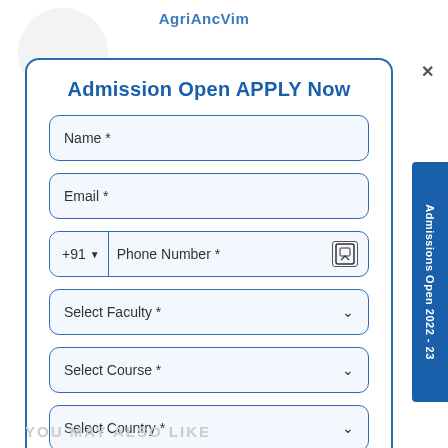AgriAncVim
Admission Open APPLY Now
Name *
Email *
+91  Phone Number *
Select Faculty *
Select Course *
Select Country *
Admissions Open 2022 - 23
YOU MAY ALSO LIKE